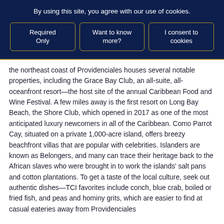By using this site, you agree with our use of cookies.
Required Only
Want to know more?
I consent to cookies
the northeast coast of Providenciales houses several notable properties, including the Grace Bay Club, an all-suite, all-oceanfront resort—the host site of the annual Caribbean Food and Wine Festival. A few miles away is the first resort on Long Bay Beach, the Shore Club, which opened in 2017 as one of the most anticipated luxury newcomers in all of the Caribbean. Como Parrot Cay, situated on a private 1,000-acre island, offers breezy beachfront villas that are popular with celebrities. Islanders are known as Belongers, and many can trace their heritage back to the African slaves who were brought in to work the islands' salt pans and cotton plantations. To get a taste of the local culture, seek out authentic dishes—TCI favorites include conch, blue crab, boiled or fried fish, and peas and hominy grits, which are easier to find at casual eateries away from Providenciales